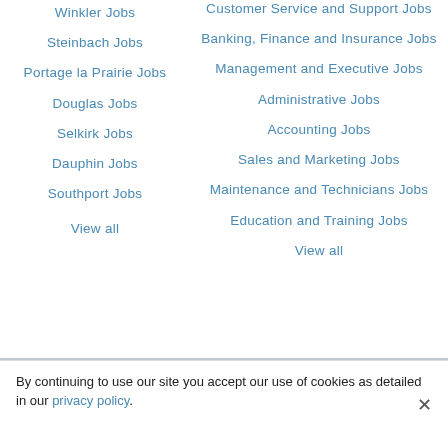Winkler Jobs
Customer Service and Support Jobs
Steinbach Jobs
Banking, Finance and Insurance Jobs
Portage la Prairie Jobs
Management and Executive Jobs
Douglas Jobs
Administrative Jobs
Selkirk Jobs
Accounting Jobs
Dauphin Jobs
Sales and Marketing Jobs
Southport Jobs
Maintenance and Technicians Jobs
View all
Education and Training Jobs
View all
By continuing to use our site you accept our use of cookies as detailed in our privacy policy.